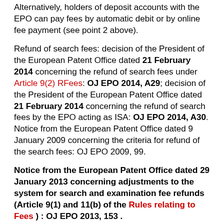Alternatively, holders of deposit accounts with the EPO can pay fees by automatic debit or by online fee payment (see point 2 above).
Refund of search fees: decision of the President of the European Patent Office dated 21 February 2014 concerning the refund of search fees under Article 9(2) RFees: OJ EPO 2014, A29; decision of the President of the European Patent Office dated 21 February 2014 concerning the refund of search fees by the EPO acting as ISA: OJ EPO 2014, A30. Notice from the European Patent Office dated 9 January 2009 concerning the criteria for refund of the search fees: OJ EPO 2009, 99.
Notice from the European Patent Office dated 29 January 2013 concerning adjustments to the system for search and examination fee refunds (Article 9(1) and 11(b) of the Rules relating to Fees ) : OJ EPO 2013, 153 .
Paying renewal fees for European patent applications and patents: OJ EPO 1984, 272.